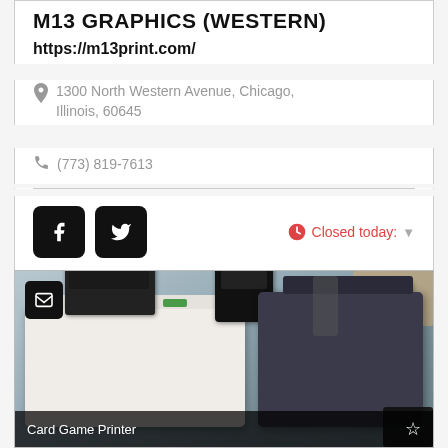M13 GRAPHICS (WESTERN)
https://m13print.com/
1300 North Western Avenue, Chicago, Illinois, 60645
(773) 819-7613
Closed today:
[Figure (photo): Photo of professional printing equipment including a large white printer with a laptop on top, a dark control panel, and a dark large-format copier/printer, inside a print shop. Caption reads 'Card Game Printer'.]
Card Game Printer